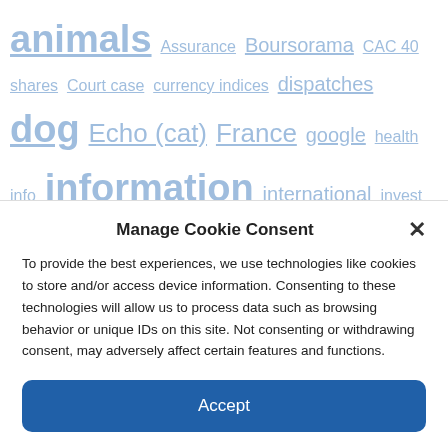animals Assurance Boursorama CAC 40 shares Court case currency indices dispatches dog Echo (cat) France google health info information international invest investment Judges justice Law Lawyers league League 1 Legal advisers
Manage Cookie Consent
To provide the best experiences, we use technologies like cookies to store and/or access device information. Consenting to these technologies will allow us to process data such as browsing behavior or unique IDs on this site. Not consenting or withdrawing consent, may adversely affect certain features and functions.
Accept
Cookie Policy